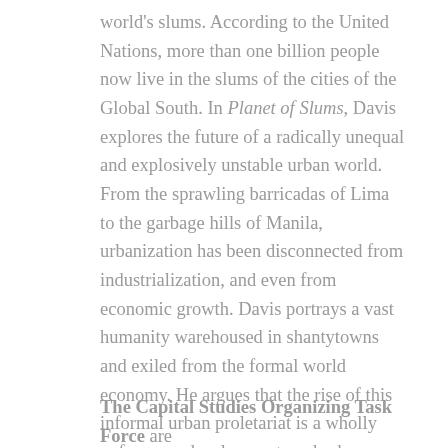world's slums. According to the United Nations, more than one billion people now live in the slums of the cities of the Global South. In Planet of Slums, Davis explores the future of a radically unequal and explosively unstable urban world. From the sprawling barricadas of Lima to the garbage hills of Manila, urbanization has been disconnected from industrialization, and even from economic growth. Davis portrays a vast humanity warehoused in shantytowns and exiled from the formal world economy. He argues that the rise of this informal urban proletariat is a wholly unforeseen development, and asks whether the great slums, as a terrified Victorian middle class once imagined, are volcanoes waiting to erupt.
The Capital Studies Organizing Task Force are